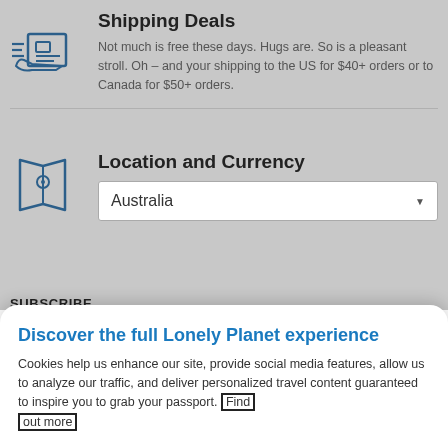Shipping Deals
Not much is free these days. Hugs are. So is a pleasant stroll. Oh – and your shipping to the US for $40+ orders or to Canada for $50+ orders.
Location and Currency
Australia
SUBSCRIBE
Get 20% off at our online shop.
Discover the full Lonely Planet experience
Cookies help us enhance our site, provide social media features, allow us to analyze our traffic, and deliver personalized travel content guaranteed to inspire you to grab your passport. Find out more